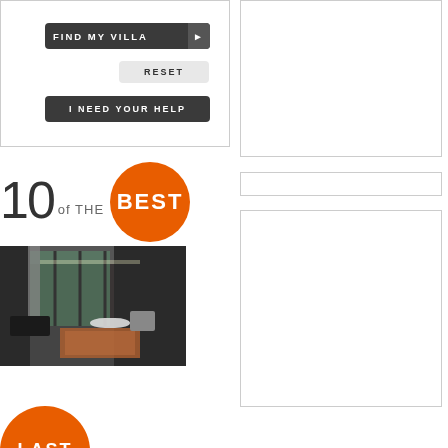[Figure (screenshot): UI buttons: FIND MY VILLA with arrow, RESET, I NEED YOUR HELP on dark rounded buttons]
[Figure (infographic): 10 of THE BEST graphic with orange circle containing BEST text]
[Figure (photo): Interior photo of a modern villa with large glass windows, open plan living area, colorful rug]
[Figure (infographic): LAST DEALS logo with orange circle and text]
[Figure (other): Right column showing three white rectangular placeholder boxes with borders]